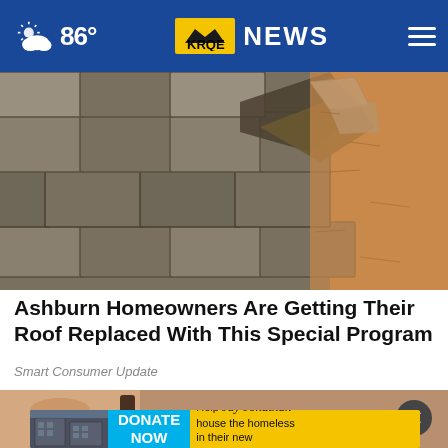86° KRQE NEWS
[Figure (photo): Close-up photo of damaged roof shingles, partially lifted and broken, with sandy/dirt ground visible beneath]
Ashburn Homeowners Are Getting Their Roof Replaced With This Special Program
Smart Consumer Update
[Figure (photo): Partial second advertisement image showing a hand and a building, with a DONATE NOW button and text 'Help Jay Jonathan house the homeless in their new apartment complex.' on a yellow banner]